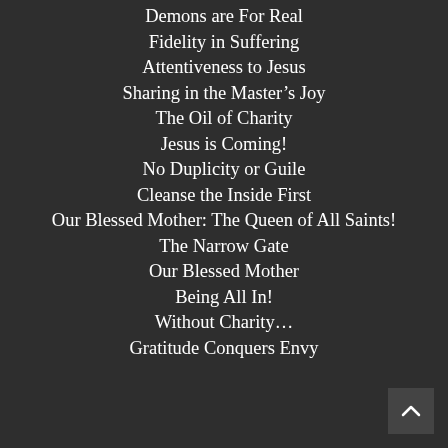Demons are For Real
Fidelity in Suffering
Attentiveness to Jesus
Sharing in the Master’s Joy
The Oil of Charity
Jesus is Coming!
No Duplicity or Guile
Cleanse the Inside First
Our Blessed Mother: The Queen of All Saints!
The Narrow Gate
Our Blessed Mother
Being All In!
Without Charity…
Gratitude Conquers Envy